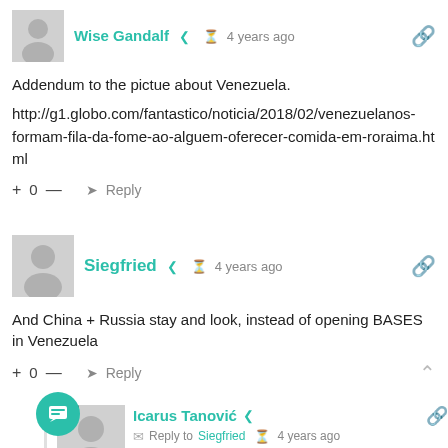Wise Gandalf  4 years ago
Addendum to the pictue about Venezuela.
http://g1.globo.com/fantastico/noticia/2018/02/venezuelanos-formam-fila-da-fome-ao-alguem-oferecer-comida-em-roraima.html
+ 0 —  Reply
Siegfried  4 years ago
And China + Russia stay and look, instead of opening BASES in Venezuela
+ 0 —  Reply
Icarus Tanović  Reply to Siegfried  4 years ago
They already have some...